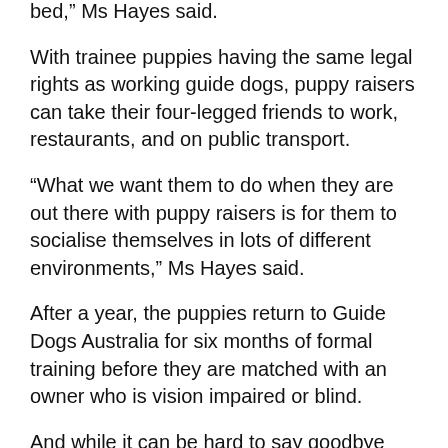bed," Ms Hayes said.
With trainee puppies having the same legal rights as working guide dogs, puppy raisers can take their four-legged friends to work, restaurants, and on public transport.
“What we want them to do when they are out there with puppy raisers is for them to socialise themselves in lots of different environments,” Ms Hayes said.
After a year, the puppies return to Guide Dogs Australia for six months of formal training before they are matched with an owner who is vision impaired or blind.
And while it can be hard to say goodbye after a year, Ms Hayes has some advice.
“What we like to think is it’s not about giving them back, you are giving them forward and enabling them to go on and really change someone’s life,